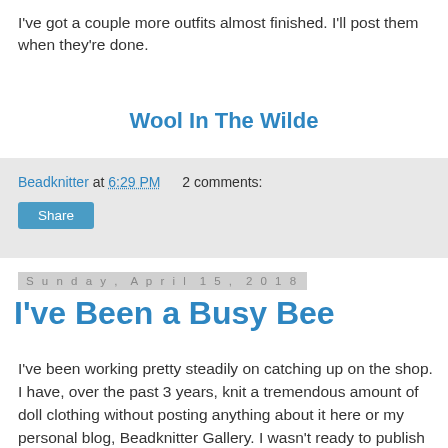I've got a couple more outfits almost finished. I'll post them when they're done.
Wool In The Wilde
Beadknitter at 6:29 PM   2 comments:
Share
Sunday, April 15, 2018
I've Been a Busy Bee
I've been working pretty steadily on catching up on the shop. I have, over the past 3 years, knit a tremendous amount of doll clothing without posting anything about it here or my personal blog, Beadknitter Gallery. I wasn't ready to publish them, to be honest. I didn't really have a definite plan or look I was trying to achieve until recently. Now that I've got my act together, so to speak, I've added 2 new outfits for the Tonner